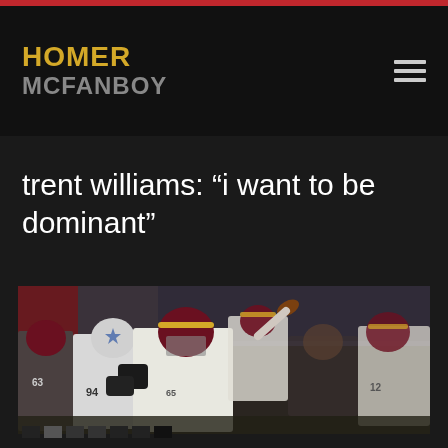HOMER MCFANBOY
trent williams: “i want to be dominant”
[Figure (photo): Football game action photo showing Washington Redskins offensive lineman blocking Dallas Cowboys defender #94, with quarterback winding up to throw in background. Players in white and burgundy/gold uniforms on indoor field.]
slide navigation dots